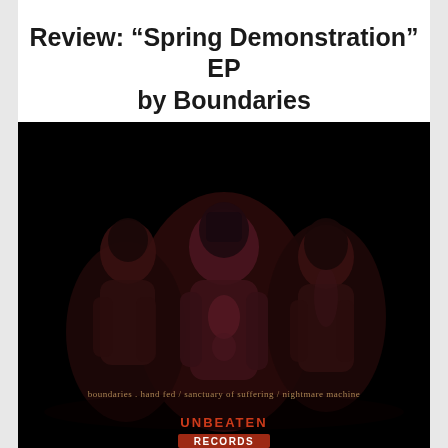Review: “Spring Demonstration” EP by Boundaries
[Figure (photo): Album cover for Boundaries 'Spring Demonstration' EP. Dark/black background with three figures in shadowy, distorted poses. Bottom text reads: 'boundaries . hand fed / sanctuary of suffering / nightmare machine'. Bottom center shows the 'UNBEATEN' label logo in orange/red text.]